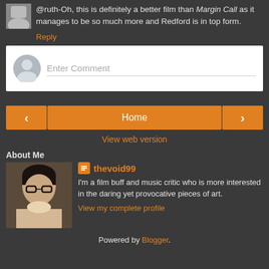@ruth-Oh, this is definitely a better film than Margin Call as it manages to be so much more and Redford is in top form.
Reply
[Figure (screenshot): Enter Comment input box with user avatar placeholder]
[Figure (screenshot): Navigation buttons: left arrow, Home, right arrow]
View web version
About Me
[Figure (photo): Profile photo of a young woman with black hair and glasses]
thevoid99
I'm a film buff and music critic who is more interested in the daring yet provocative pieces of art.
View my complete profile
Powered by Blogger.